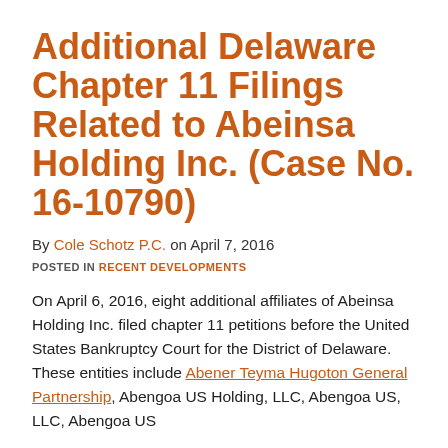Additional Delaware Chapter 11 Filings Related to Abeinsa Holding Inc. (Case No. 16-10790)
By Cole Schotz P.C. on April 7, 2016
POSTED IN RECENT DEVELOPMENTS
On April 6, 2016, eight additional affiliates of Abeinsa Holding Inc. filed chapter 11 petitions before the United States Bankruptcy Court for the District of Delaware.  These entities include Abener Teyma Hugoton General Partnership, Abengoa US Holding, LLC, Abengoa US, LLC, Abengoa US